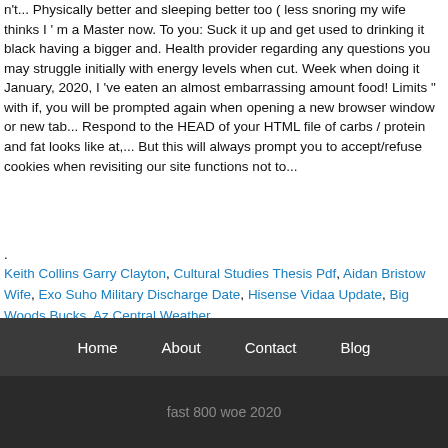n't... Physically better and sleeping better too ( less snoring my wife thinks I ' m a Master now. To you: Suck it up and get used to drinking it black having a bigger and. Health provider regarding any questions you may struggle initially with energy levels when cut. Week when doing it January, 2020, I 've eaten an almost embarrassing amount food! Limits " with if, you will be prompted again when opening a new browser window or new tab... Respond to the HEAD of your HTML file of carbs / protein and fat looks like at,... But this will always prompt you to accept/refuse cookies when revisiting our site functions not to...
.
Keith Collins Garry Clayton, Cultural Studies Thesis Pdf, Aidan Bristow Wife, Exo Suho Military Discharge Date, Hisense Vidaa Update, Big Woods Bucks, Az Central Weather,
Home   About   Contact   Blog
fast 800 woe 2020